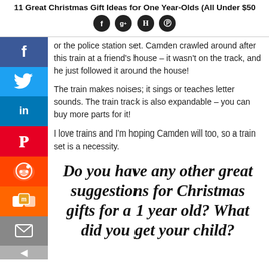11 Great Christmas Gift Ideas for One Year-Olds (All Under $50)
or the police station set. Camden crawled around after this train at a friend's house – it wasn't on the track, and he just followed it around the house!
The train makes noises; it sings or teaches letter sounds. The train track is also expandable – you can buy more parts for it!
I love trains and I'm hoping Camden will too, so a train set is a necessity.
Do you have any other great suggestions for Christmas gifts for a 1 year old? What did you get your child?